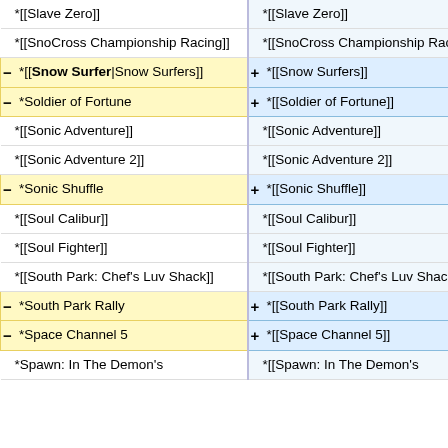| Left (old) | Right (new) |
| --- | --- |
| *[[Slave Zero]] | *[[Slave Zero]] |
| *[[SnoCross Championship Racing]] | *[[SnoCross Championship Racing]] |
| *[[Snow Surfer|Snow Surfers]] | *[[Snow Surfers]] |
| *Soldier of Fortune | *[[Soldier of Fortune]] |
| *[[Sonic Adventure]] | *[[Sonic Adventure]] |
| *[[Sonic Adventure 2]] | *[[Sonic Adventure 2]] |
| *Sonic Shuffle | *[[Sonic Shuffle]] |
| *[[Soul Calibur]] | *[[Soul Calibur]] |
| *[[Soul Fighter]] | *[[Soul Fighter]] |
| *[[South Park: Chef's Luv Shack]] | *[[South Park: Chef's Luv Shack]] |
| *South Park Rally | *[[South Park Rally]] |
| *Space Channel 5 | *[[Space Channel 5]] |
| *Spawn: In The Demon's | *[[Spawn: In The Demon's |